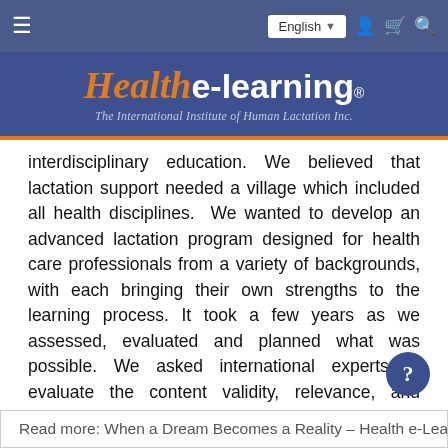Health e-learning® — The International Institute of Human Lactation Inc.
interdisciplinary education. We believed that lactation support needed a village which included all health disciplines. We wanted to develop an advanced lactation program designed for health care professionals from a variety of backgrounds, with each bringing their own strengths to the learning process. It took a few years as we assessed, evaluated and planned what was possible. We asked international experts to evaluate the content validity, relevance, and feasibility of our proposed interdisciplinary graduate program in advanced lactation and they responded.
Read more: When a Dream Becomes a Reality – Health e-Learning-